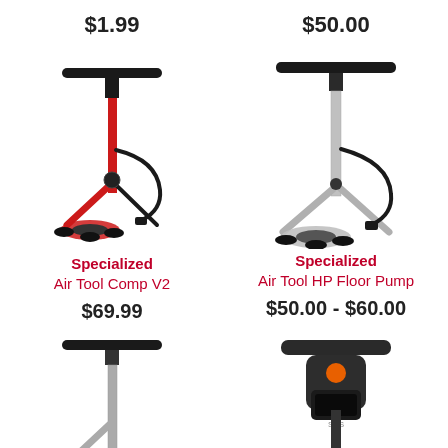$1.99
[Figure (illustration): Red Specialized floor pump (Air Tool Comp V2)]
Specialized
Air Tool Comp V2
$69.99
$50.00
[Figure (illustration): Silver Specialized floor pump (Air Tool HP Floor Pump)]
Specialized
Air Tool HP Floor Pump
$50.00 - $60.00
[Figure (illustration): Partial view of a floor pump handle and shaft, bottom row left]
[Figure (illustration): Partial view of a dark pump head with orange button, bottom row right]